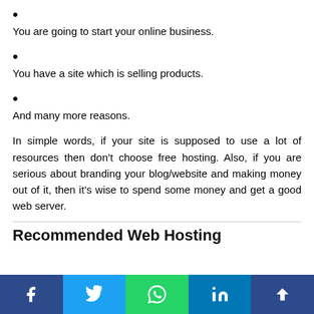You are going to start your online business.
You have a site which is selling products.
And many more reasons.
In simple words, if your site is supposed to use a lot of resources then don’t choose free hosting. Also, if you are serious about branding your blog/website and making money out of it, then it’s wise to spend some money and get a good web server.